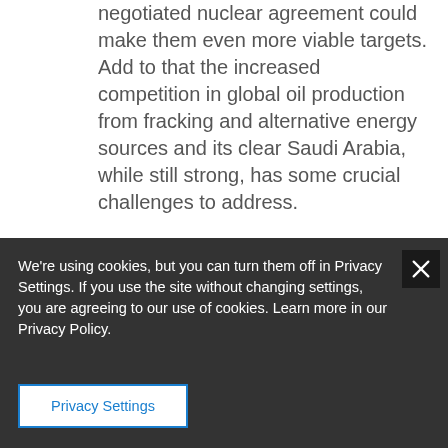negotiated nuclear agreement could make them even more viable targets. Add to that the increased competition in global oil production from fracking and alternative energy sources and its clear Saudi Arabia, while still strong, has some crucial challenges to address.
We debated various paths forward but ultimately agreed Saudi Arabia...
We're using cookies, but you can turn them off in Privacy Settings. If you use the site without changing settings, you are agreeing to our use of cookies. Learn more in our Privacy Policy.
Privacy Settings